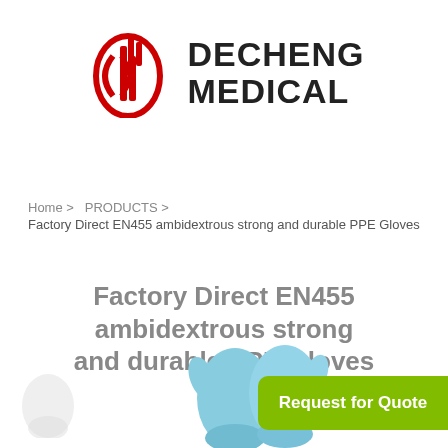[Figure (logo): Decheng Medical logo: red oval shield with stylized 'd' mark and bold black text 'DECHENG MEDICAL']
Home > PRODUCTS > Factory Direct EN455 ambidextrous strong and durable PPE Gloves
Factory Direct EN455 ambidextrous strong and durable PPE Gloves
[Figure (photo): Blue PPE gloves (nitrile/latex exam gloves) displayed against white background, with a partial white glove on the left and a green Request for Quote button overlay]